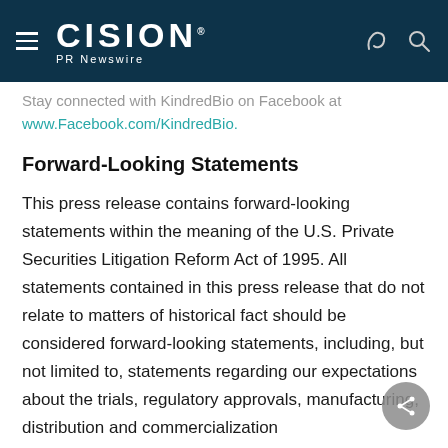CISION PR Newswire
Stay connected with KindredBio on Facebook at www.Facebook.com/KindredBio.
Forward-Looking Statements
This press release contains forward-looking statements within the meaning of the U.S. Private Securities Litigation Reform Act of 1995. All statements contained in this press release that do not relate to matters of historical fact should be considered forward-looking statements, including, but not limited to, statements regarding our expectations about the trials, regulatory approvals, manufacturing, distribution and commercialization